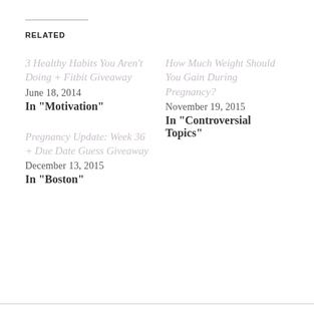RELATED
3 Healthy Habits You Aren't Doing + Fitbit Giveaway
June 18, 2014
In "Motivation"
How Much Weight Should You Gain During Pregnancy?
November 19, 2015
In "Controversial Topics"
Pregnancy Update: Week 36 + Due Date Guess Giveaway
December 13, 2015
In "Boston"